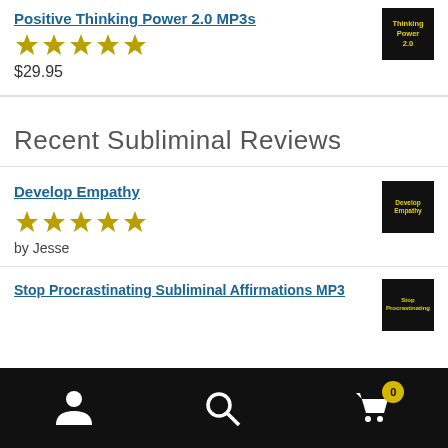Positive Thinking Power 2.0 MP3s
★★★★★
$29.95
Recent Subliminal Reviews
Develop Empathy
★★★★★
by Jesse
Stop Procrastinating Subliminal Affirmations MP3
User icon | Search icon | Cart icon (0)